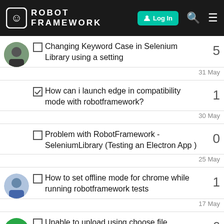ROBOT FRAMEWORK — Log In
Changing Keyword Case in Selenium Library using a setting — 5 replies — 31 May
How can i launch edge in compatibility mode with robotframework? — 1 reply — 30 May
Problem with RobotFramework - SeleniumLibrary (Testing an Electron App ) — 0 replies — 25 May
How to set offline mode for chrome while running robotframework tests — 1 reply — 17 May
Unable to upload using choose file — 6 replies